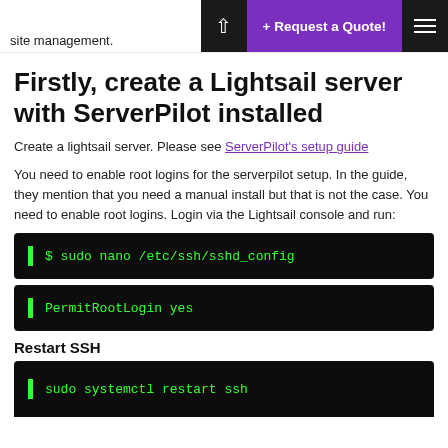site management.
Firstly, create a Lightsail server with ServerPilot installed
Create a lightsail server. Please see ServerPilot's setup guide
You need to enable root logins for the serverpilot setup. In the guide, they mention that you need a manual install but that is not the case. You need to enable root logins. Login via the Lightsail console and run:
[Figure (screenshot): Terminal code block showing: $ sudo nano /etc/ssh/sshd_config]
[Figure (screenshot): Terminal code block showing: PermitRootLogin yes]
Restart SSH
[Figure (screenshot): Terminal code block showing: sudo systemctl restart ssh (partially visible)]